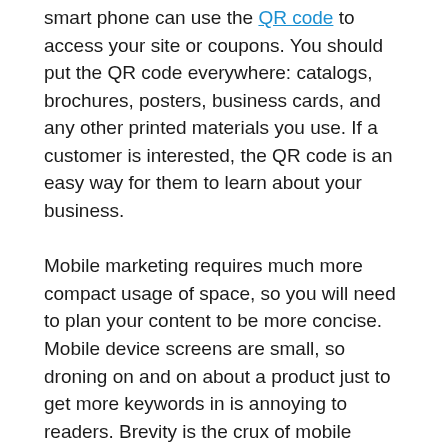smart phone can use the QR code to access your site or coupons. You should put the QR code everywhere: catalogs, brochures, posters, business cards, and any other printed materials you use. If a customer is interested, the QR code is an easy way for them to learn about your business.
Mobile marketing requires much more compact usage of space, so you will need to plan your content to be more concise. Mobile device screens are small, so droning on and on about a product just to get more keywords in is annoying to readers. Brevity is the crux of mobile marketing communications.